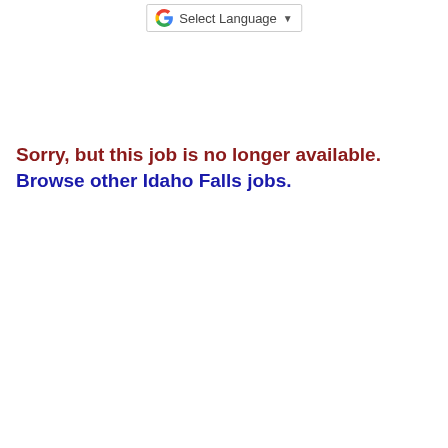Select Language
Sorry, but this job is no longer available. Browse other Idaho Falls jobs.